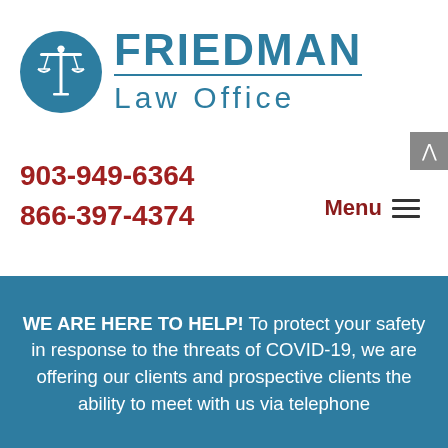[Figure (logo): Friedman Law Office logo with blue scales of justice in a circle and firm name text]
903-949-6364
866-397-4374
Menu ≡
WE ARE HERE TO HELP! To protect your safety in response to the threats of COVID-19, we are offering our clients and prospective clients the ability to meet with us via telephone